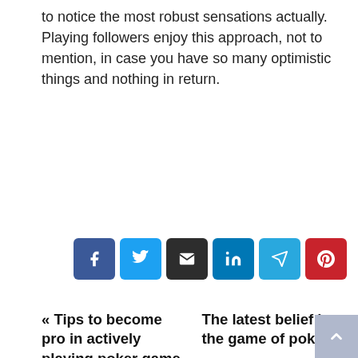to notice the most robust sensations actually. Playing followers enjoy this approach, not to mention, in case you have so many optimistic things and nothing in return.
[Figure (infographic): Row of 6 social share icon buttons: Facebook (blue), Twitter (light blue), Email (dark/black), LinkedIn (blue), Telegram (cyan-blue), Pinterest (red)]
« Tips to become pro in actively playing poker game     The latest belief in the game of poker »
[Figure (photo): Default user avatar: circular gray placeholder with silhouette icon]
By